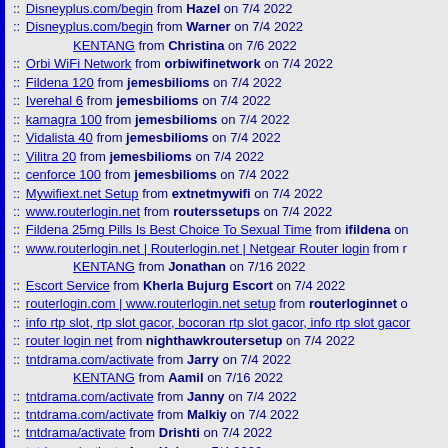:: Disneyplus.com/begin from Hazel on 7/4 2022
:: Disneyplus.com/begin from Warner on 7/4 2022
KENTANG from Christina on 7/6 2022
:: Orbi WiFi Network from orbiwifinetwork on 7/4 2022
:: Fildena 120 from jemesbilioms on 7/4 2022
:: Iverehal 6 from jemesbilioms on 7/4 2022
:: kamagra 100 from jemesbilioms on 7/4 2022
:: Vidalista 40 from jemesbilioms on 7/4 2022
:: Vilitra 20 from jemesbilioms on 7/4 2022
:: cenforce 100 from jemesbilioms on 7/4 2022
:: Mywifiext.net Setup from extnetmywifi on 7/4 2022
:: www.routerlogin.net from routerssetups on 7/4 2022
:: Fildena 25mg Pills Is Best Choice To Sexual Time from ifildena on
:: www.routerlogin.net | Routerlogin.net | Netgear Router login from r
KENTANG from Jonathan on 7/16 2022
:: Escort Service from Kherla Bujurg Escort on 7/4 2022
:: routerlogin.com | www.routerlogin.net setup from routerloginnet o
:: info rtp slot, rtp slot gacor, bocoran rtp slot gacor, info rtp slot gacor
:: router login net from nighthawkroutersetup on 7/4 2022
:: tntdrama.com/activate from Jarry on 7/4 2022
KENTANG from Aamil on 7/16 2022
:: tntdrama.com/activate from Janny on 7/4 2022
:: tntdrama.com/activate from Malkiy on 7/4 2022
:: tntdrama/activate from Drishti on 7/4 2022
:: tntdrama/activate from Kaka on 7/4 2022
KENTANG from Elizabeth on 7/16 2022
:: tntdrama/activate from Jattu on 7/4 2022
:: tntdrama/activate from Topa on 7/4 2022
KENTANG from Ashley on 7/16 2022
:: tntdrama/activate from Danny on 7/4 2022